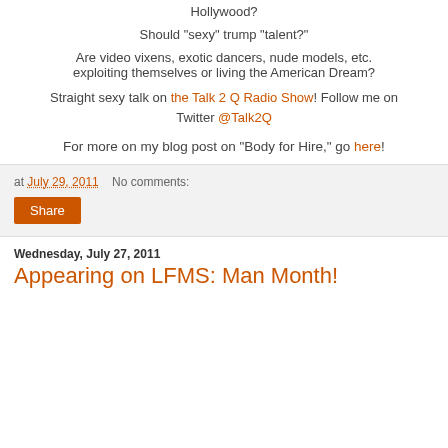Hollywood?
Should "sexy" trump "talent?"
Are video vixens, exotic dancers, nude models, etc. exploiting themselves or living the American Dream?
Straight sexy talk on the Talk 2 Q Radio Show! Follow me on Twitter @Talk2Q
For more on my blog post on "Body for Hire," go here!
at July 29, 2011    No comments:
Share
Wednesday, July 27, 2011
Appearing on LFMS: Man Month!